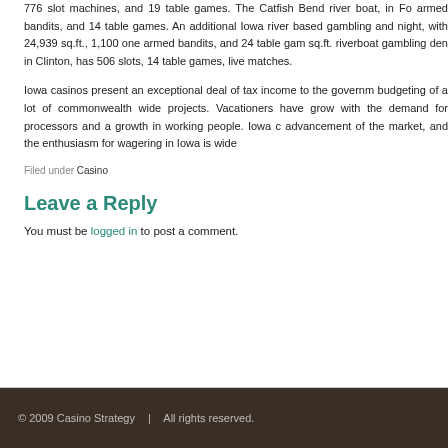776 slot machines, and 19 table games. The Catfish Bend river boat, in Fo armed bandits, and 14 table games. An additional Iowa river based gambling and night, with 24,939 sq.ft., 1,100 one armed bandits, and 24 table gam sq.ft. riverboat gambling den in Clinton, has 506 slots, 14 table games, live matches.
Iowa casinos present an exceptional deal of tax income to the governm budgeting of a lot of commonwealth wide projects. Vacationers have grow with the demand for processors and a growth in working people. Iowa c advancement of the market, and the enthusiasm for wagering in Iowa is wide
Filed under Casino
Leave a Reply
You must be logged in to post a comment.
© 2009 Casino Strategy  |  All rights reserved.